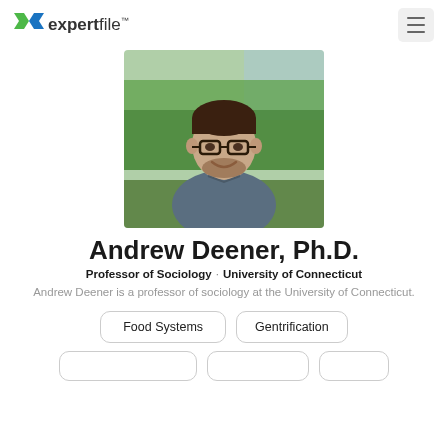expertfile
[Figure (photo): Headshot of Andrew Deener, a man with dark hair and glasses wearing a blue short-sleeve shirt, smiling outdoors with green foliage and water in background]
Andrew Deener, Ph.D.
Professor of Sociology · University of Connecticut
Andrew Deener is a professor of sociology at the University of Connecticut.
Food Systems
Gentrification